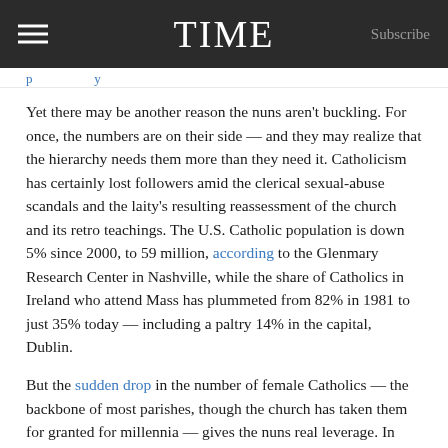TIME  Subscribe
Yet there may be another reason the nuns aren't buckling. For once, the numbers are on their side — and they may realize that the hierarchy needs them more than they need it. Catholicism has certainly lost followers amid the clerical sexual-abuse scandals and the laity's resulting reassessment of the church and its retro teachings. The U.S. Catholic population is down 5% since 2000, to 59 million, according to the Glenmary Research Center in Nashville, while the share of Catholics in Ireland who attend Mass has plummeted from 82% in 1981 to just 35% today — including a paltry 14% in the capital, Dublin.
But the sudden drop in the number of female Catholics — the backbone of most parishes, though the church has taken them for granted for millennia — gives the nuns real leverage. In olden days, Catholic women didn't feel as excluded by an all-male priesthood because the church offered leadership roles rarely available to them in the secular world, like hospital and business administration. Today, however, many if not most Catholic women just see an institution that rates them as second-class. And as Patricia Wittberg, a